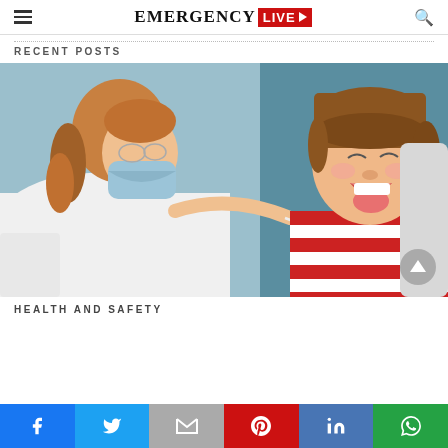EMERGENCY LIVE
RECENT POSTS
[Figure (photo): A female doctor or nurse wearing a white coat and blue surgical mask examines a young girl who is wearing a red and white striped shirt and has her mouth wide open. The doctor appears to be using a tongue depressor or swab to examine the child's throat.]
HEALTH AND SAFETY
Facebook | Twitter | Gmail/Email | Pinterest | LinkedIn | WhatsApp